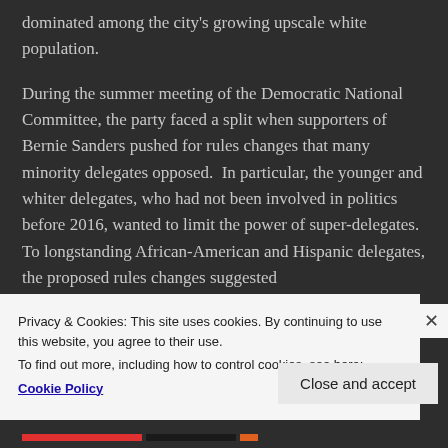dominated among the city's growing upscale white population.
During the summer meeting of the Democratic National Committee, the party faced a split when supporters of Bernie Sanders pushed for rules changes that many minority delegates opposed.  In particular, the younger and whiter delegates, who had not been involved in politics before 2016, wanted to limit the power of super-delegates.  To longstanding African-American and Hispanic delegates, the proposed rules changes suggested
Privacy & Cookies: This site uses cookies. By continuing to use this website, you agree to their use.
To find out more, including how to control cookies, see here:
Cookie Policy
Close and accept